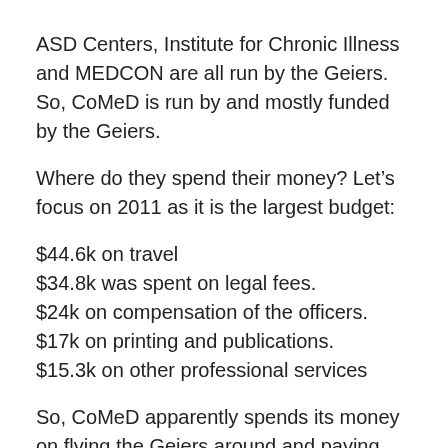ASD Centers, Institute for Chronic Illness and MEDCON are all run by the Geiers. So, CoMeD is run by and mostly funded by the Geiers.
Where do they spend their money? Let's focus on 2011 as it is the largest budget:
$44.6k on travel
$34.8k was spent on legal fees.
$24k on compensation of the officers.
$17k on printing and publications.
$15.3k on other professional services
So, CoMeD apparently spends its money on flying the Geiers around and paying attorneys. Plus paying the Geiers small salary. But they are the primary donors so CoMeD is paying the Geiers their own money. Plus